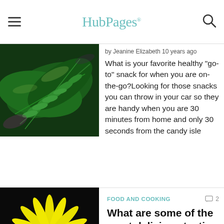HubPages
[Figure (photo): Fern leaves with green foliage, partial view at top]
by Jeanine Elizabeth 10 years ago
What is your favorite healthy "go-to" snack for when you are on-the-go?Looking for those snacks you can throw in your car so they are handy when you are 30 minutes from home and only 30 seconds from the candy isle
FOOD AND COOKING
What are some of the most delicious tasting healthy snacks?
[Figure (photo): Bright yellow daisy/sunflower-like flower against dark background]
by InfoFinder 10 years ago
What are some of the most delicious tasting healthy snacks?